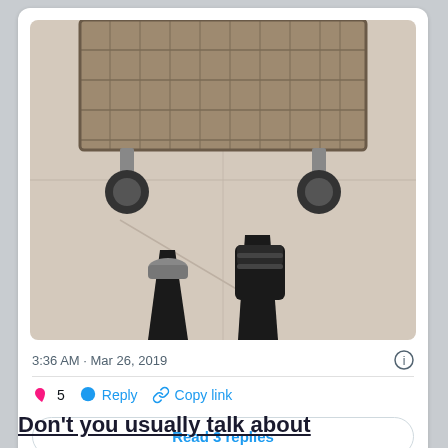[Figure (photo): A top-down perspective photo showing a person's legs and feet while pushing a shopping cart on a store floor. One foot wears a gray sneaker and the other wears a black medical boot. The cart's lower basket is visible at the top of the frame.]
3:36 AM · Mar 26, 2019
5  Reply  Copy link
Read 3 replies
Don't you usually talk about